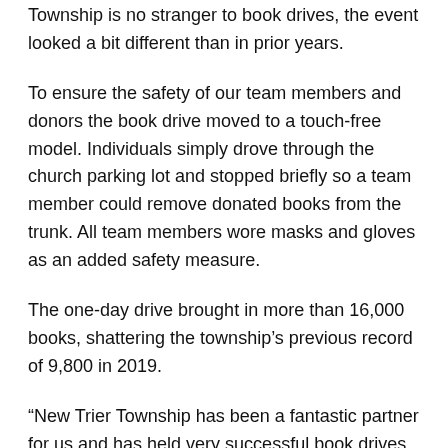Township is no stranger to book drives, the event looked a bit different than in prior years.
To ensure the safety of our team members and donors the book drive moved to a touch-free model. Individuals simply drove through the church parking lot and stopped briefly so a team member could remove donated books from the trunk. All team members wore masks and gloves as an added safety measure.
The one-day drive brought in more than 16,000 books, shattering the township's previous record of 9,800 in 2019.
“New Trier Township has been a fantastic partner for us and has held very successful book drives for the last three years,” Head Book Acquisition Specialist Sandra